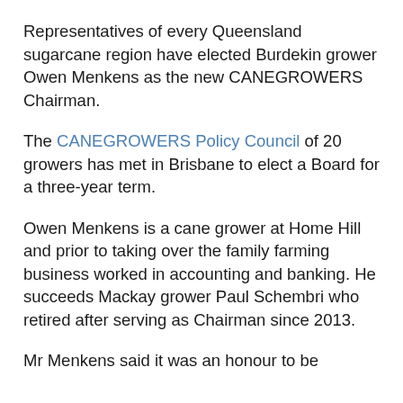Representatives of every Queensland sugarcane region have elected Burdekin grower Owen Menkens as the new CANEGROWERS Chairman.
The CANEGROWERS Policy Council of 20 growers has met in Brisbane to elect a Board for a three-year term.
Owen Menkens is a cane grower at Home Hill and prior to taking over the family farming business worked in accounting and banking. He succeeds Mackay grower Paul Schembri who retired after serving as Chairman since 2013.
Mr Menkens said it was an honour to be